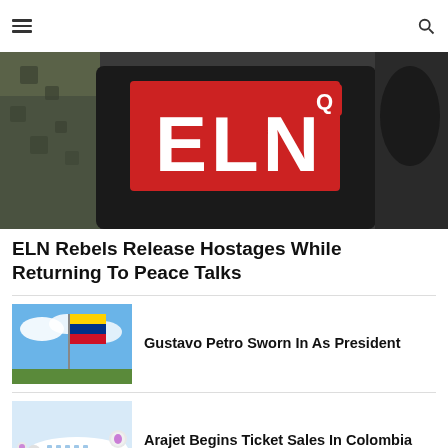menu / search navigation bar
[Figure (photo): ELN rebel insignia on black gear with letters ELN in white on red/black background]
ELN Rebels Release Hostages While Returning To Peace Talks
[Figure (photo): Colombian flag waving against blue sky with clouds]
Gustavo Petro Sworn In As President
[Figure (photo): Arajet airline aircraft on tarmac, white plane with colorful tail logo]
Arajet Begins Ticket Sales In Colombia